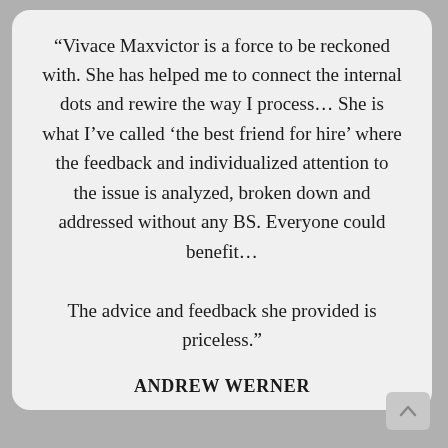“Vivace Maxvictor is a force to be reckoned with. She has helped me to connect the internal dots and rewire the way I process… She is what I’ve called ‘the best friend for hire’ where the feedback and individualized attention to the issue is analyzed, broken down and addressed without any BS. Everyone could benefit… The advice and feedback she provided is priceless.”
ANDREW WERNER